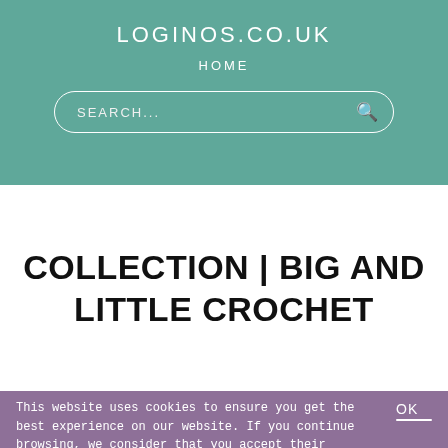LOGINOS.CO.UK
HOME
SEARCH...
COLLECTION | BIG AND LITTLE CROCHET
This website uses cookies to ensure you get the best experience on our website. If you continue browsing, we consider that you accept their use.